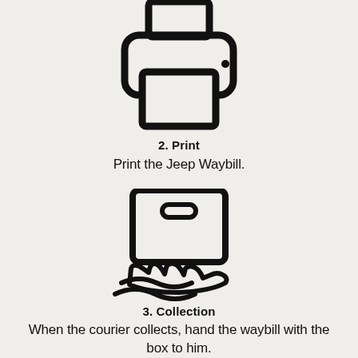[Figure (illustration): Icon of a printer — two stacked rectangles representing paper tray and printer body, with rounded corners, thick black outline strokes on a light beige background]
2. Print
Print the Jeep Waybill.
[Figure (illustration): Icon of a package box being handed over — a square box with handle slot on top, and a hand with wavy lines beneath it representing handoff]
3. Collection
When the courier collects, hand the waybill with the box to him.